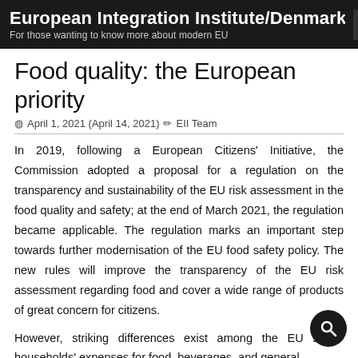European Integration Institute/Denmark
For those wanting to know more about modern EU
Food quality: the European priority
April 1, 2021 (April 14, 2021)  EII Team
In 2019, following a European Citizens' Initiative, the Commission adopted a proposal for a regulation on the transparency and sustainability of the EU risk assessment in the food quality and safety; at the end of March 2021, the regulation became applicable. The regulation marks an important step towards further modernisation of the EU food safety policy. The new rules will improve the transparency of the EU risk assessment regarding food and cover a wide range of products of great concern for citizens.
However, striking differences exist among the EU states households' expenses for food, beverages, and general